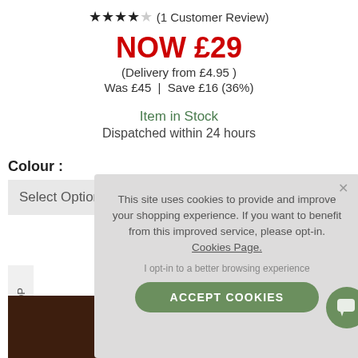★★★★☆ (1 Customer Review)
NOW £29
(Delivery from £4.95 )
Was £45  |  Save £16 (36%)
Item in Stock
Dispatched within 24 hours
Colour :
Select Option
[Figure (screenshot): Cookie consent overlay with text: 'This site uses cookies to provide and improve your shopping experience. If you want to benefit from this improved service, please opt-in. Cookies Page. I opt-in to a better browsing experience' and an ACCEPT COOKIES button]
This site uses cookies to provide and improve your shopping experience. If you want to benefit from this improved service, please opt-in. Cookies Page.
I opt-in to a better browsing experience
ACCEPT COOKIES